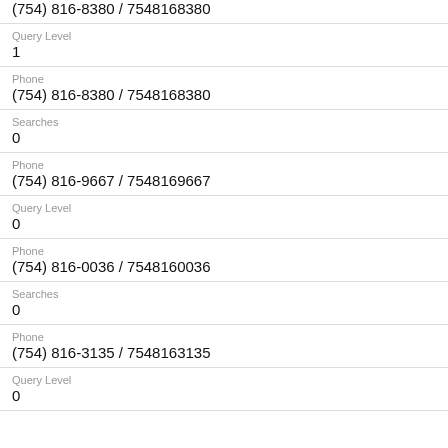(754) 816-... / 754816...
Query Level
1
Phone
(754) 816-8380 / 7548168380
Searches
0
Phone
(754) 816-9667 / 7548169667
Query Level
0
Phone
(754) 816-0036 / 7548160036
Searches
0
Phone
(754) 816-3135 / 7548163135
Query Level
0